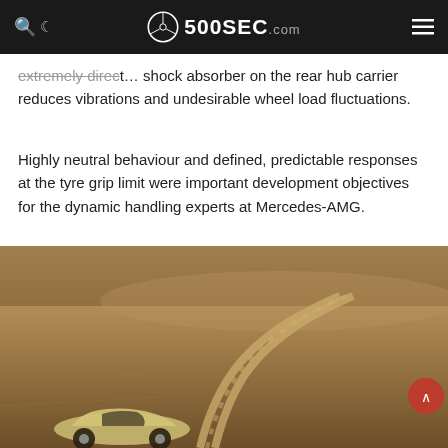500SEC.com
extremely direct… shock absorber on the rear hub carrier reduces vibrations and undesirable wheel load fluctuations.
Highly neutral behaviour and defined, predictable responses at the tyre grip limit were important development objectives for the dynamic handling experts at Mercedes-AMG.
[Figure (photo): A sports car (Mercedes-AMG) driving on a winding road through a vast open landscape with dry brown fields and a winding path stretching into the distance.]